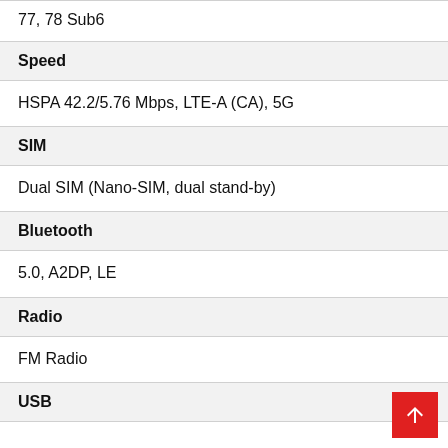77, 78 Sub6
Speed
HSPA 42.2/5.76 Mbps, LTE-A (CA), 5G
SIM
Dual SIM (Nano-SIM, dual stand-by)
Bluetooth
5.0, A2DP, LE
Radio
FM Radio
USB